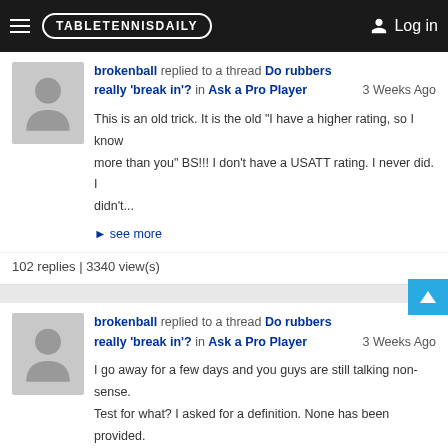TABLETENNISDAILY   Log in
brokenball replied to a thread Do rubbers really 'break in'? in Ask a Pro Player   3 Weeks Ago
This is an old trick. It is the old "I have a higher rating, so I know more than you" BS!!! I don't have a USATT rating. I never did. I didn't...
see more
102 replies | 3340 view(s)
brokenball replied to a thread Do rubbers really 'break in'? in Ask a Pro Player   3 Weeks Ago
I go away for a few days and you guys are still talking non-sense. Test for what? I asked for a definition. None has been provided. What changes...
see more